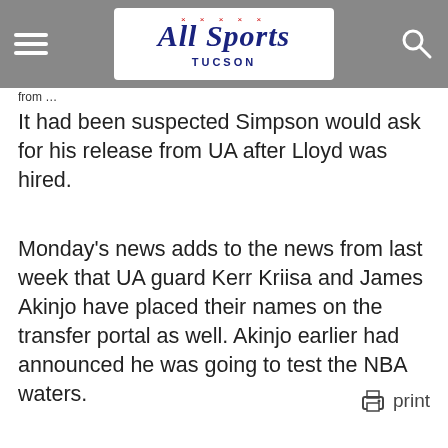All Sports Tucson
It had been suspected Simpson would ask for his release from UA after Lloyd was hired.
Monday's news adds to the news from last week that UA guard Kerr Kriisa and James Akinjo have placed their names on the transfer portal as well. Akinjo earlier had announced he was going to test the NBA waters.
print
[Figure (logo): Frog Fishin' brand logo with a blue frog wearing a Union Jack pattern and bold yellow/gold graffiti-style lettering]